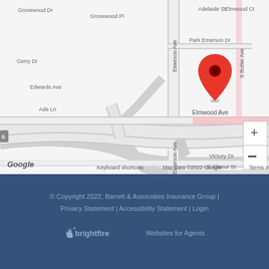[Figure (map): Google Maps view showing intersection near Elmwood Ave and Emerson Ave in a neighborhood. A red location pin is visible near S Butler Ave and Park Emerson Dr area. Streets visible include Grovewood Dr, Grovewood Pl, Adelaide St, Elmwood Ct, Gerry Dr, Edwards Ave, Emerson Ave, Ada Ln, Victory Dr, E Elenor St, Elmwood Ave. Map data ©2022 Google.]
© Copyright 2022, Barrett & Associates Insurance Group | Privacy Statement | Accessibility Statement | Login
[Figure (logo): BrightFire Websites for Agents logo in white/light color on dark blue background]